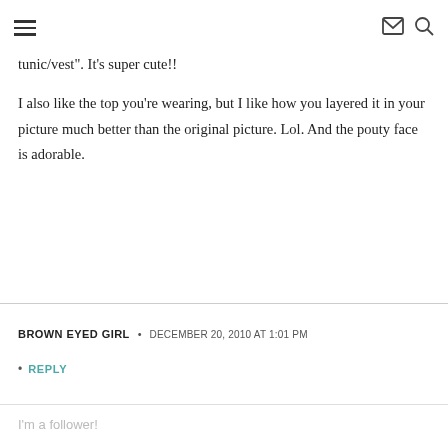≡  ✉  🔍
tunic/vest". It's super cute!!
I also like the top you're wearing, but I like how you layered it in your picture much better than the original picture. Lol. And the pouty face is adorable.
BROWN EYED GIRL  •  DECEMBER 20, 2010 AT 1:01 PM
• REPLY
I'm a follower!